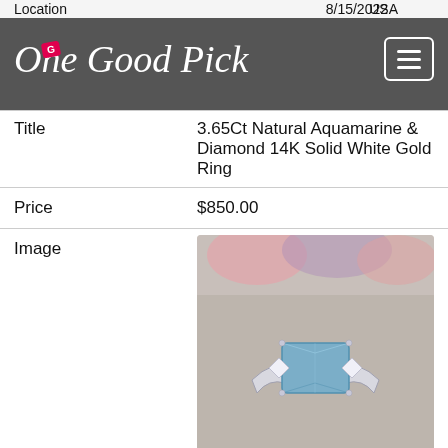[Figure (logo): One Good Pick logo on dark grey navigation bar with hamburger menu button]
| Location | USA |
| Posted | 8/15/2022 |
| Title | 3.65Ct Natural Aquamarine & Diamond 14K Solid White Gold Ring |
| Price | $850.00 |
| Image | [ring photo] |
| Source | eBay.com |
| Location | USA |
| Posted | 8/11/2022 |
| Title | 3Ct Emerald Cut Aquamarine Solitaire |